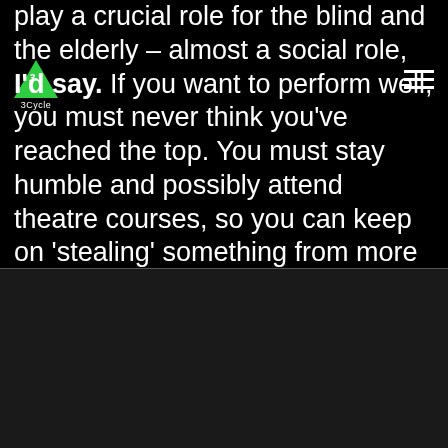[Figure (logo): 3Cycle logo: green triangle with italic number/letter inside, label '3Cycle' below]
play a crucial role for the blind and the elderly – almost a social role, I'd say. If you want to perform well, you must never think you've reached the top. You must stay humble and possibly attend theatre courses, so you can keep on 'stealing' something from more skilled colleagues.
Sul nostro sito web utilizziamo cookies per fini statistici e per memorizzare la lingua selezionata. Scopri di più su Privacy e Cookie policy. Cliccando "Accetto", acconsenti all'uso di TUTTI i cookies.
Impostazioni
Accetto